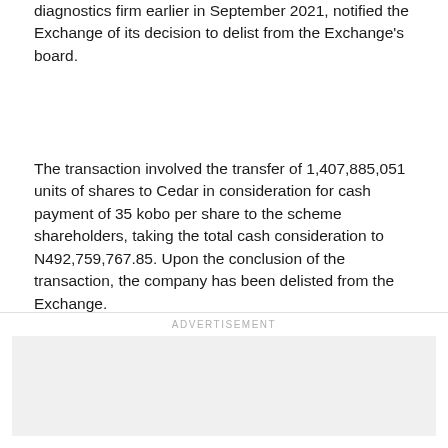diagnostics firm earlier in September 2021, notified the Exchange of its decision to delist from the Exchange's board.
The transaction involved the transfer of 1,407,885,051 units of shares to Cedar in consideration for cash payment of 35 kobo per share to the scheme shareholders, taking the total cash consideration to N492,759,767.85. Upon the conclusion of the transaction, the company has been delisted from the Exchange.
ADVERTISEMENT